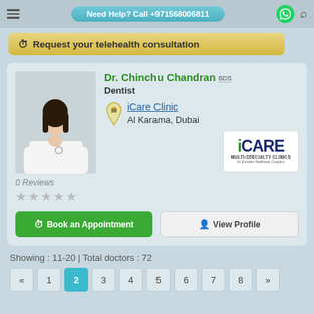Need Help? Call +971568006811
Request your telehealth consultation
Dr. Chinchu Chandran BDS
Dentist
iCare Clinic
Al Karama, Dubai
0 Reviews
[Figure (photo): Photo of Dr. Chinchu Chandran in white doctor coat]
[Figure (logo): iCARE Multi-Specialty Clinics logo - An Emirates Healthcare Company]
Showing : 11-20 | Total doctors : 72
« 1 2 3 4 5 6 7 8 »